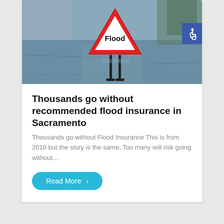[Figure (photo): A red triangular flood warning sign standing in floodwater on a road. The sign reads 'Flood' in black text. Water covers the road surface with reflections visible.]
Thousands go without recommended flood insurance in Sacramento
Thousands go without Flood Insurance This is from 2010 but the story is the same. Too many will risk going without...
Read More >